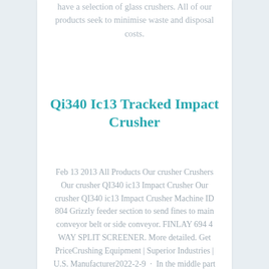have a selection of glass crushers. All of our products seek to minimise waste and disposal costs.
Qi340 Ic13 Tracked Impact Crusher
Feb 13 2013 All Products Our crusher Crushers Our crusher QI340 ic13 Impact Crusher Our crusher QI340 ic13 Impact Crusher Machine ID 804 Grizzly feeder section to send fines to main conveyor belt or side conveyor. FINLAY 694 4 WAY SPLIT SCREENER. More detailed. Get PriceCrushing Equipment | Superior Industries | U.S. Manufacturer2022-2-9 · In the middle part of the 2010"s, Superior launched an aggressive strategy to improve reliability and performance of the products serving the aggregate industry. Our customers —